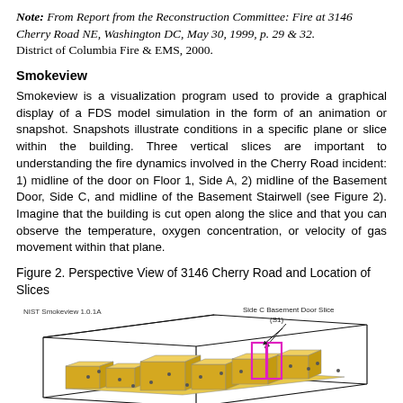Note: From Report from the Reconstruction Committee: Fire at 3146 Cherry Road NE, Washington DC, May 30, 1999, p. 29 & 32. District of Columbia Fire & EMS, 2000.
Smokeview
Smokeview is a visualization program used to provide a graphical display of a FDS model simulation in the form of an animation or snapshot. Snapshots illustrate conditions in a specific plane or slice within the building. Three vertical slices are important to understanding the fire dynamics involved in the Cherry Road incident: 1) midline of the door on Floor 1, Side A, 2) midline of the Basement Door, Side C, and midline of the Basement Stairwell (see Figure 2). Imagine that the building is cut open along the slice and that you can observe the temperature, oxygen concentration, or velocity of gas movement within that plane.
Figure 2. Perspective View of 3146 Cherry Road and Location of Slices
[Figure (illustration): 3D perspective rendering of a building labeled 'NIST Smokeview 1.0.1A' showing the structure of 3146 Cherry Road with a highlighted pink/magenta rectangle indicating the Side C Basement Door Slice (S1). The building is shown as a yellow 3D model with black outline box, arrows pointing to the slice location.]